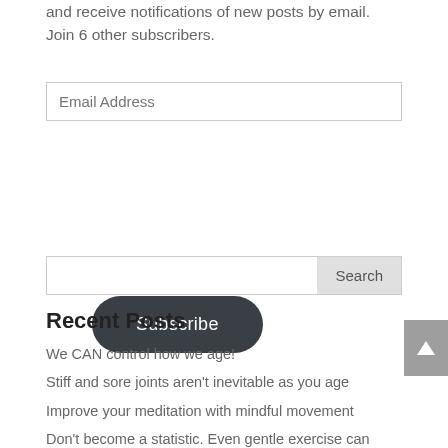and receive notifications of new posts by email. Join 6 other subscribers.
Email Address
Subscribe
Search
Recent Posts
We CAN control how we age!
Stiff and sore joints aren't inevitable as you age
Improve your meditation with mindful movement
Don't become a statistic. Even gentle exercise can help prevent cancer.
A Mediterranean Diet could keep ageing brains sharp